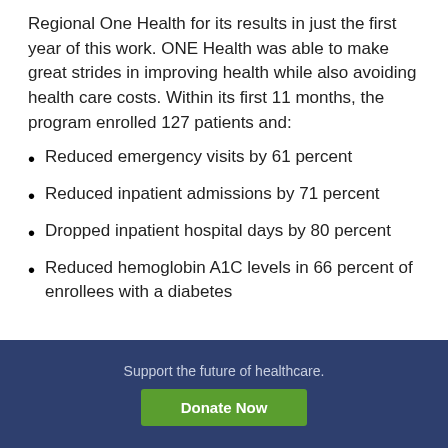Regional One Health for its results in just the first year of this work. ONE Health was able to make great strides in improving health while also avoiding health care costs. Within its first 11 months, the program enrolled 127 patients and:
Reduced emergency visits by 61 percent
Reduced inpatient admissions by 71 percent
Dropped inpatient hospital days by 80 percent
Reduced hemoglobin A1C levels in 66 percent of enrollees with a diabetes
Support the future of healthcare.